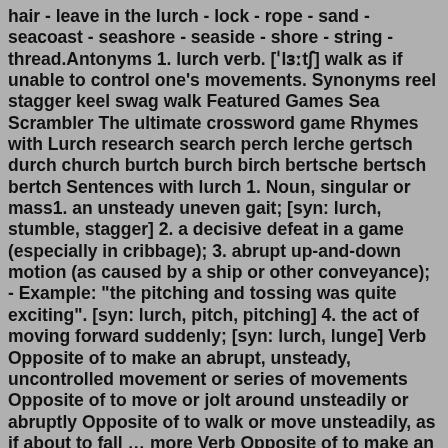hair - leave in the lurch - lock - rope - sand - seacoast - seashore - seaside - shore - string - thread.Antonyms 1. lurch verb. [ˈlɜːtʃ] walk as if unable to control one's movements. Synonyms reel stagger keel swag walk Featured Games Sea Scrambler The ultimate crossword game Rhymes with Lurch research search perch lerche gertsch durch church burtch burch birch bertsche bertsch bertch Sentences with lurch 1. Noun, singular or mass1. an unsteady uneven gait; [syn: lurch, stumble, stagger] 2. a decisive defeat in a game (especially in cribbage); 3. abrupt up-and-down motion (as caused by a ship or other conveyance); - Example: "the pitching and tossing was quite exciting". [syn: lurch, pitch, pitching] 4. the act of moving forward suddenly; [syn: lurch, lunge] Verb Opposite of to make an abrupt, unsteady, uncontrolled movement or series of movements Opposite of to move or jolt around unsteadily or abruptly Opposite of to walk or move unsteadily, as if about to fall … more Verb Opposite of to make an abrupt, unsteady, uncontrolled movement or series of